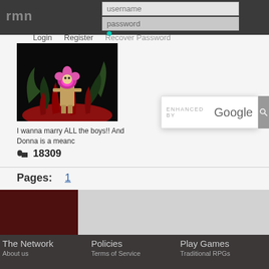rmn | username | password | Login | Register | Recover Password
[Figure (screenshot): Game thumbnail showing a character with pink flower head surrounded by red plants on dark background]
[Figure (screenshot): Enhanced by Google search bar overlay]
I wanna marry ALL the boys!! And Donna is a meanc
m 18309
Pages:  1
The Network | Policies | Play Games | About us | Terms of Service | Traditional RPGs